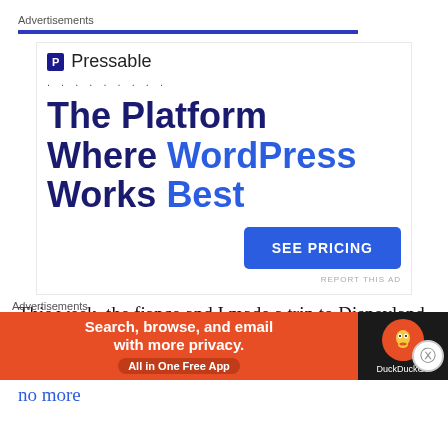Advertisements
[Figure (infographic): Pressable advertisement: logo with 'P' icon and 'Pressable' text, dotted separator, headline 'The Platform Where WordPress Works Best', blue 'SEE PRICING' button, 'REPORT THIS AD' link]
This week, the fiance and I made a trip to Disneyland on a weekday expecting it would be empty. It was wishful thinking because the parks are now crowded, no more
Advertisements
[Figure (infographic): DuckDuckGo advertisement: orange background with text 'Search, browse, and email with more privacy. All in One Free App', dark panel with DuckDuckGo logo]